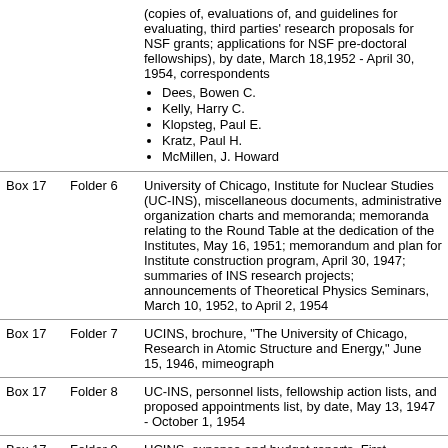| Box | Folder | Description |
| --- | --- | --- |
|  |  | (copies of, evaluations of, and guidelines for evaluating, third parties' research proposals for NSF grants; applications for NSF pre-doctoral fellowships), by date, March 18,1952 - April 30, 1954, correspondents
• Dees, Bowen C.
• Kelly, Harry C.
• Klopsteg, Paul E.
• Kratz, Paul H.
• McMillen, J. Howard |
| Box 17 | Folder 6 | University of Chicago, Institute for Nuclear Studies (UC-INS), miscellaneous documents, administrative organization charts and memoranda; memoranda relating to the Round Table at the dedication of the Institutes, May 16, 1951; memorandum and plan for Institute construction program, April 30, 1947; summaries of INS research projects; announcements of Theoretical Physics Seminars, March 10, 1952, to April 2, 1954 |
| Box 17 | Folder 7 | UCINS, brochure, "The University of Chicago, Research in Atomic Structure and Energy," June 15, 1946, mimeograph |
| Box 17 | Folder 8 | UC-INS, personnel lists, fellowship action lists, and proposed appointments list, by date, May 13, 1947 - October 1, 1954 |
| Box 17 | Folder 9 | UCINS, expense and budget reports, First |